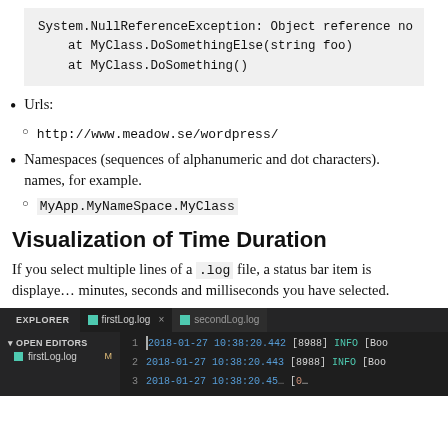.Net exception stack traces, i.e. lines starting with whitespace c…
System.NullReferenceException: Object reference no
    at MyClass.DoSomethingElse(string foo)
    at MyClass.DoSomething()
Urls:
http://www.meadow.se/wordpress/
Namespaces (sequences of alphanumeric and dot characters)… names, for example.
MyApp.MyNameSpace.MyClass
Visualization of Time Duration
If you select multiple lines of a .log file, a status bar item is displayed showing the number of hours, minutes, seconds and milliseconds you have selected.
[Figure (screenshot): VS Code editor screenshot showing Explorer sidebar with firstLog.log open, two log file tabs (firstLog.log and secondLog.log), and log lines dated 2018-01-27 10:38:20.]